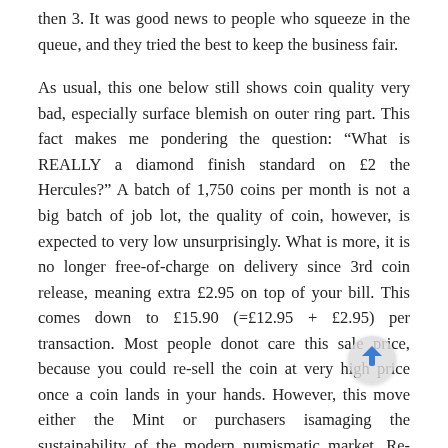then 3. It was good news to people who squeeze in the queue, and they tried the best to keep the business fair.
As usual, this one below still shows coin quality very bad, especially surface blemish on outer ring part. This fact makes me pondering the question: “What is REALLY a diamond finish standard on £2 the Hercules?” A batch of 1,750 coins per month is not a big batch of job lot, the quality of coin, however, is expected to very low unsurprisingly. What is more, it is no longer free-of-charge on delivery since 3rd coin release, meaning extra £2.95 on top of your bill. This comes down to £15.90 (=£12.95 + £2.95) per transaction. Most people donot care this sale price, because you could re-sell the coin at very high price once a coin lands in your hands. However, this move either the Mint or purchasers is damaging the sustainability of the modern numismatic market. Re-issue of the labours of Hercules, it probably follows the Royal Mint